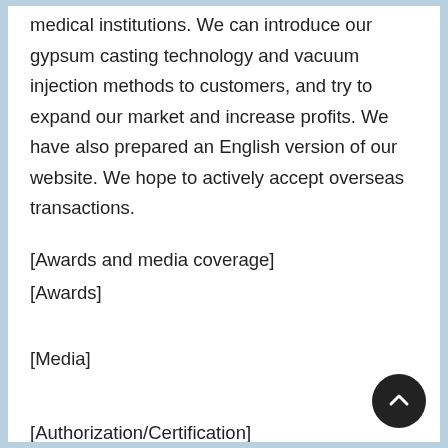medical institutions. We can introduce our gypsum casting technology and vacuum injection methods to customers, and try to expand our market and increase profits. We have also prepared an English version of our website. We hope to actively accept overseas transactions.
[Awards and media coverage]
[Awards]
[Media]
[Authorization/Certification]
Acquired ISO 14001 certification.